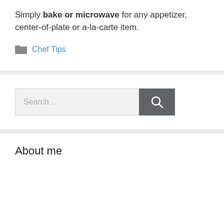Simply bake or microwave for any appetizer, center-of-plate or a-la-carte item.
Chef Tips
[Figure (other): Search bar with text input field saying 'Search ...' and a dark gray search button with magnifying glass icon]
About me